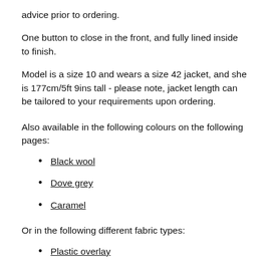advice prior to ordering.
One button to close in the front, and fully lined inside to finish.
Model is a size 10 and wears a size 42 jacket, and she is 177cm/5ft 9ins tall - please note, jacket length can be tailored to your requirements upon ordering.
Also available in the following colours on the following pages:
Black wool
Dove grey
Caramel
Or in the following different fabric types:
Plastic overlay